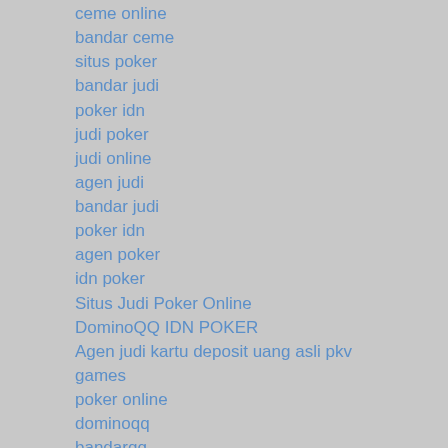ceme online
bandar ceme
situs poker
bandar judi
poker idn
judi poker
judi online
agen judi
bandar judi
poker idn
agen poker
idn poker
Situs Judi Poker Online
DominoQQ IDN POKER
Agen judi kartu deposit uang asli pkv games
poker online
dominoqq
bandarqq
bandar poker
bandarq
sakong
aduq